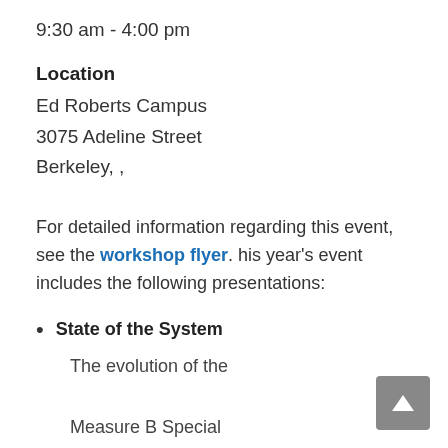9:30 am - 4:00 pm
Location
Ed Roberts Campus
3075 Adeline Street
Berkeley, ,
For detailed information regarding this event, see the workshop flyer. his year's event includes the following presentations:
State of the System
The evolution of the
Measure B Special
Transportation Program for
Seniors and People with